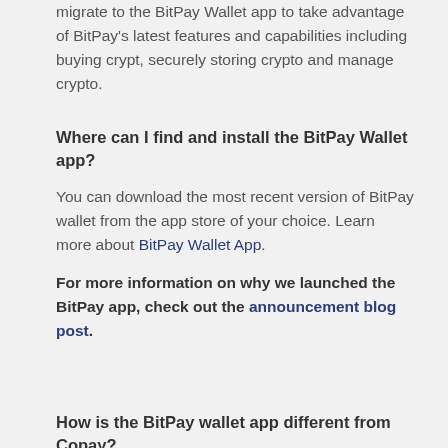migrate to the BitPay Wallet app to take advantage of BitPay's latest features and capabilities including buying crypt, securely storing crypto and manage crypto.
Where can I find and install the BitPay Wallet app?
You can download the most recent version of BitPay wallet from the app store of your choice. Learn more about BitPay Wallet App.
For more information on why we launched the BitPay app, check out the announcement blog post.
How is the BitPay wallet app different from Copay?